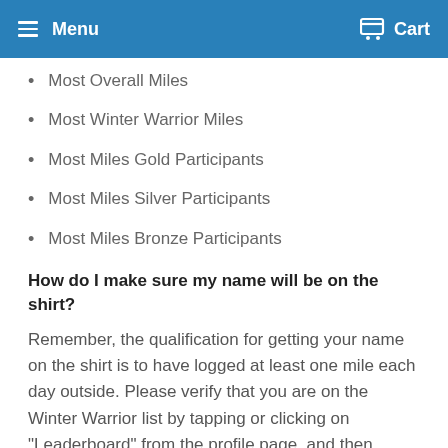Menu   Cart
Most Overall Miles
Most Winter Warrior Miles
Most Miles Gold Participants
Most Miles Silver Participants
Most Miles Bronze Participants
How do I make sure my name will be on the shirt?
Remember, the qualification for getting your name on the shirt is to have logged at least one mile each day outside. Please verify that you are on the Winter Warrior list by tapping or clicking on "Leaderboard" from the profile page, and then tapping or clicking on the word "Overall" to bring up the drop-down list. From the drop-down list select "Winter Warrior." You may also verify your status by noting that you have a small blue ribbon attached to your Gold, Silver or Bronze ribbon. Please also check the spelling of your name. Email corrections for spelling to